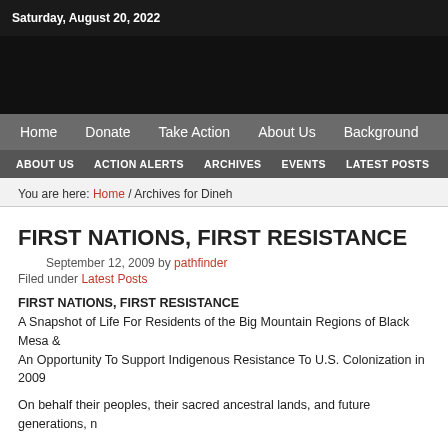Saturday, August 20, 2022
Home | Donate | Take Action | About Us | Background
ABOUT US | ACTION ALERTS | ARCHIVES | EVENTS | LATEST POSTS
You are here: Home / Archives for Dineh
FIRST NATIONS, FIRST RESISTANCE
September 12, 2009 by pathfinder
Filed under Latest Posts
FIRST NATIONS, FIRST RESISTANCE
A Snapshot of Life For Residents of the Big Mountain Regions of Black Mesa &
An Opportunity To Support Indigenous Resistance To U.S. Colonization in 2009
On behalf their peoples, their sacred ancestral lands, and future generations, n